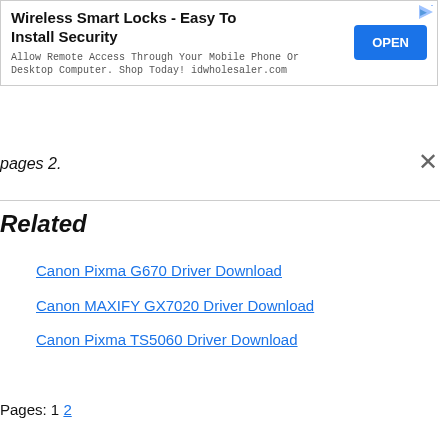[Figure (other): Advertisement banner for Wireless Smart Locks with OPEN button]
pages 2.
Related
Canon Pixma G670 Driver Download
Canon MAXIFY GX7020 Driver Download
Canon Pixma TS5060 Driver Download
Pages: 1 2